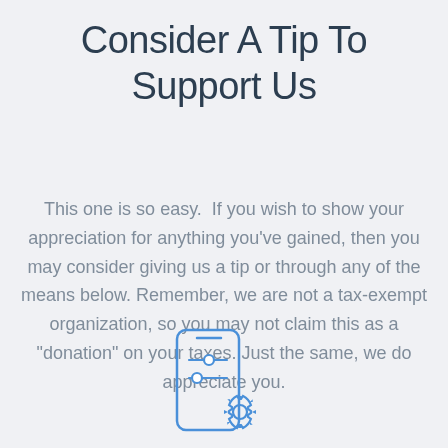Consider A Tip To Support Us
This one is so easy.  If you wish to show your appreciation for anything you've gained, then you may consider giving us a tip or through any of the means below. Remember, we are not a tax-exempt organization, so you may not claim this as a "donation" on your taxes. Just the same, we do appreciate you.
[Figure (illustration): Icon of a smartphone with sliders/settings and a gear icon, drawn in blue outline style]